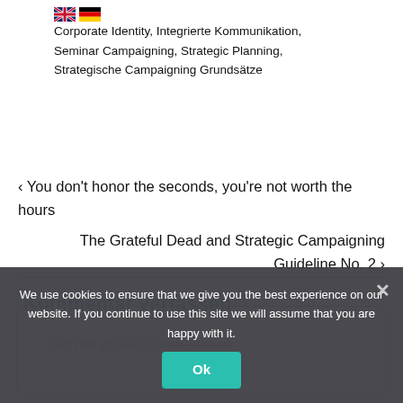Corporate Identity, Integrierte Kommunikation, Seminar Campaigning, Strategic Planning, Strategische Campaigning Grundsätze
‹ You don't honor the seconds, you're not worth the hours
The Grateful Dead and Strategic Campaigning Guideline No. 2 ›
Kommentar verfassen
Gib hier deinen Kommentar ein ...
We use cookies to ensure that we give you the best experience on our website. If you continue to use this site we will assume that you are happy with it.